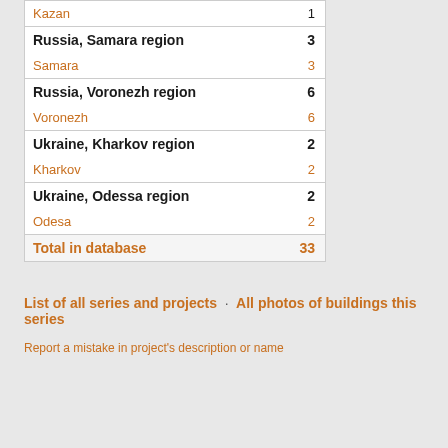| Location | Count |
| --- | --- |
| Kazan | 1 |
| Russia, Samara region | 3 |
| Samara | 3 |
| Russia, Voronezh region | 6 |
| Voronezh | 6 |
| Ukraine, Kharkov region | 2 |
| Kharkov | 2 |
| Ukraine, Odessa region | 2 |
| Odesa | 2 |
| Total in database | 33 |
List of all series and projects · All photos of buildings this series
Report a mistake in project's description or name